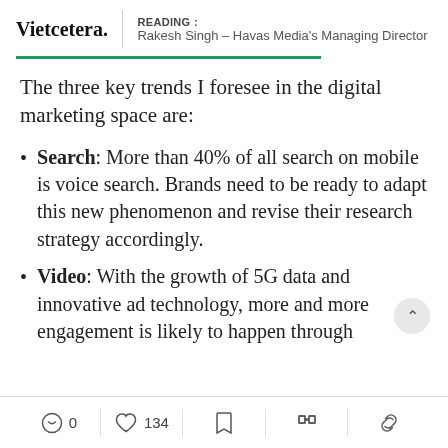Vietcetera. | READING : Rakesh Singh – Havas Media's Managing Director
The three key trends I foresee in the digital marketing space are:
Search: More than 40% of all search on mobile is voice search. Brands need to be ready to adapt this new phenomenon and revise their research strategy accordingly.
Video: With the growth of 5G data and innovative ad technology, more and more engagement is likely to happen through
0  134